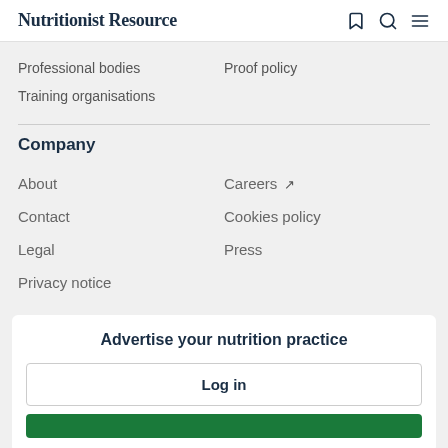Nutritionist Resource
Professional bodies
Proof policy
Training organisations
Company
About
Careers
Contact
Cookies policy
Legal
Press
Privacy notice
Advertise your nutrition practice
Log in